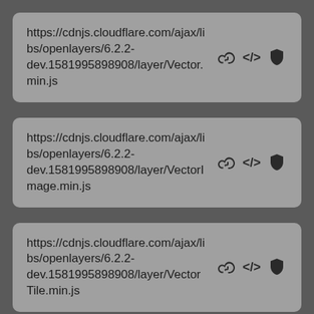https://cdnjs.cloudflare.com/ajax/libs/openlayers/6.2.2-dev.1581995898908/layer/Vector.min.js
https://cdnjs.cloudflare.com/ajax/libs/openlayers/6.2.2-dev.1581995898908/layer/VectorImage.min.js
https://cdnjs.cloudflare.com/ajax/libs/openlayers/6.2.2-dev.1581995898908/layer/VectorTile.min.js